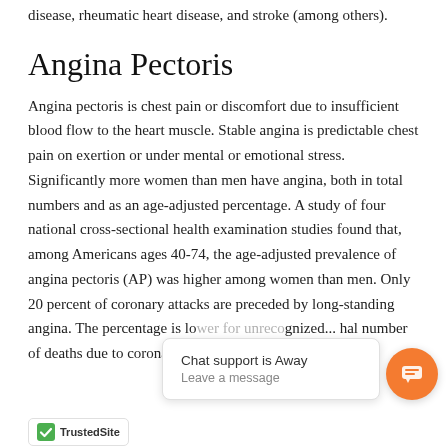disease, rheumatic heart disease, and stroke (among others).
Angina Pectoris
Angina pectoris is chest pain or discomfort due to insufficient blood flow to the heart muscle. Stable angina is predictable chest pain on exertion or under mental or emotional stress. Significantly more women than men have angina, both in total numbers and as an age-adjusted percentage. A study of four national cross-sectional health examination studies found that, among Americans ages 40-74, the age-adjusted prevalence of angina pectoris (AP) was higher among women than men. Only 20 percent of coronary attacks are preceded by long-standing angina. The percentage is lo... unre... hal number of deaths due to coronary